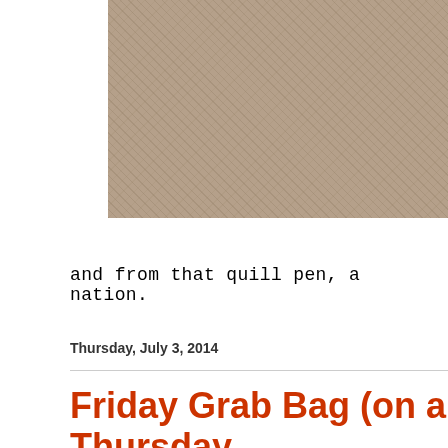[Figure (photo): Close-up photo of a sandy or rough textured surface in tan/beige color, cropped to the upper-right corner of the page]
and from that quill pen, a nation.
Thursday, July 3, 2014
Friday Grab Bag (on a Thursday Brooklyn girl; Is it all bunk?: Wh